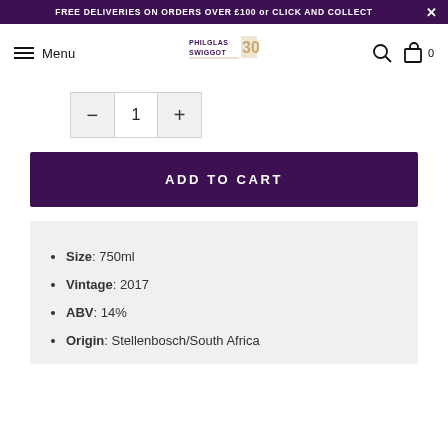FREE DELIVERIES ON ORDERS OVER £100 or CLICK AND COLLECT
Menu | Philglas & Swiggot 30
Quantity: 1
ADD TO CART
Size: 750ml
Vintage: 2017
ABV: 14%
Origin: Stellenbosch/South Africa